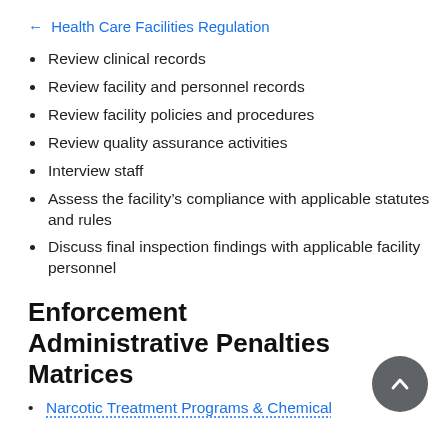← Health Care Facilities Regulation
Review clinical records
Review facility and personnel records
Review facility policies and procedures
Review quality assurance activities
Interview staff
Assess the facility's compliance with applicable statutes and rules
Discuss final inspection findings with applicable facility personnel
Enforcement Administrative Penalties Matrices
Narcotic Treatment Programs & Chemical